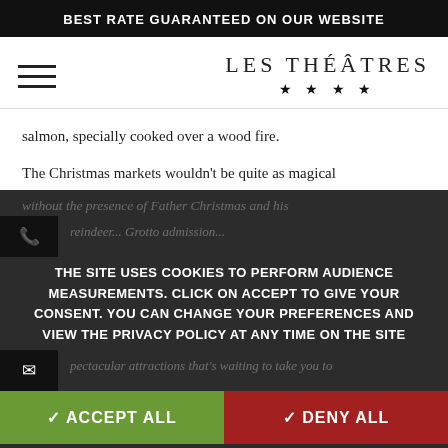BEST RATE GUARANTEED ON OUR WEBSITE
[Figure (logo): Les Théâtres four-star hotel logo with hamburger menu icon]
salmon, specially cooked over a wood fire.
The Christmas markets wouldn't be quite as magical
THE SITE USES COOKIES TO PERFORM AUDIENCE MEASUREMENTS. CLICK ON ACCEPT TO GIVE YOUR CONSENT. YOU CAN CHANGE YOUR PREFERENCES AND VIEW THE PRIVACY POLICY AT ANY TIME ON THE SITE
✓ ACCEPT ALL
✓ DENY ALL
Champs-Elysées Christmas Market including rides,
GROUP QUOTE  🏷 CUSTOMIZE BOOK